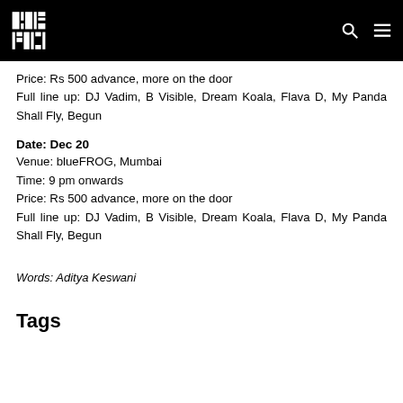Wild City
Price: Rs 500 advance, more on the door
Full line up: DJ Vadim, B Visible, Dream Koala, Flava D, My Panda Shall Fly, Begun
Date: Dec 20
Venue: blueFROG, Mumbai
Time: 9 pm onwards
Price: Rs 500 advance, more on the door
Full line up: DJ Vadim, B Visible, Dream Koala, Flava D, My Panda Shall Fly, Begun
Words: Aditya Keswani
Tags